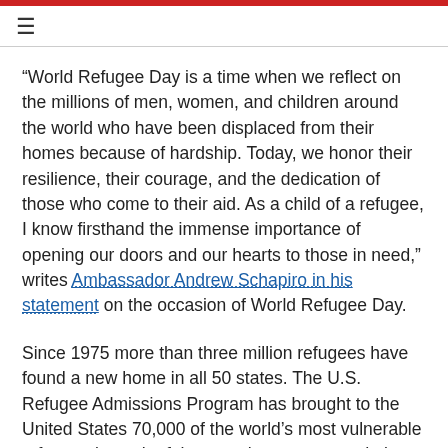≡
“World Refugee Day is a time when we reflect on the millions of men, women, and children around the world who have been displaced from their homes because of hardship. Today, we honor their resilience, their courage, and the dedication of those who come to their aid. As a child of a refugee, I know firsthand the immense importance of opening our doors and our hearts to those in need,” writes Ambassador Andrew Schapiro in his statement on the occasion of World Refugee Day.
Since 1975 more than three million refugees have found a new home in all 50 states. The U.S. Refugee Admissions Program has brought to the United States 70,000 of the world’s most vulnerable refugees in each of the past three years, and plans to increase that number to 85,000 in 2016